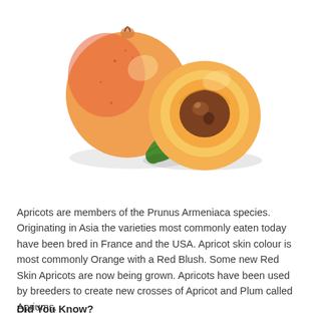[Figure (photo): A whole apricot and a halved apricot showing the pit/stone inside, with a green leaf, on a white background.]
Apricots are members of the Prunus Armeniaca species. Originating in Asia the varieties most commonly eaten today have been bred in France and the USA. Apricot skin colour is most commonly Orange with a Red Blush. Some new Red Skin Apricots are now being grown. Apricots have been used by breeders to create new crosses of Apricot and Plum called Apriums.
Did You Know?